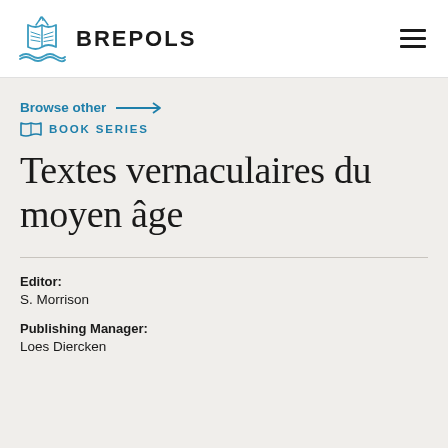BREPOLS
Browse other → BOOK SERIES
Textes vernaculaires du moyen âge
Editor: S. Morrison
Publishing Manager: Loes Diercken